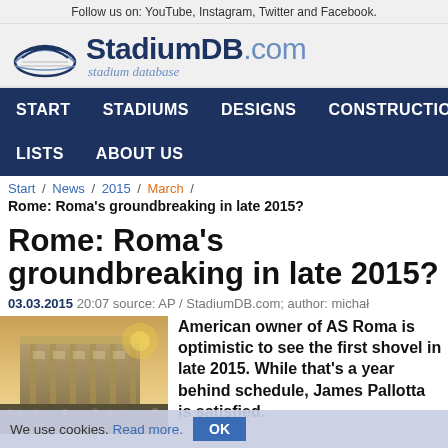Follow us on: YouTube, Instagram, Twitter and Facebook.
[Figure (logo): StadiumDB.com logo with stadium icon and tagline 'stadium database']
Navigation: START | STADIUMS | DESIGNS | CONSTRUCTIONS | LISTS | ABOUT US
Start / News / 2015 / March /
Rome: Roma's groundbreaking in late 2015?
Rome: Roma's groundbreaking in late 2015?
03.03.2015 20:07 source: AP / StadiumDB.com; author: michał
[Figure (photo): Architectural rendering of AS Roma's new stadium exterior with crowd in foreground]
American owner of AS Roma is optimistic to see the first shovel in late 2015. While that's a year behind schedule, James Pallotta is satisfied.
We use cookies. Read more. OK